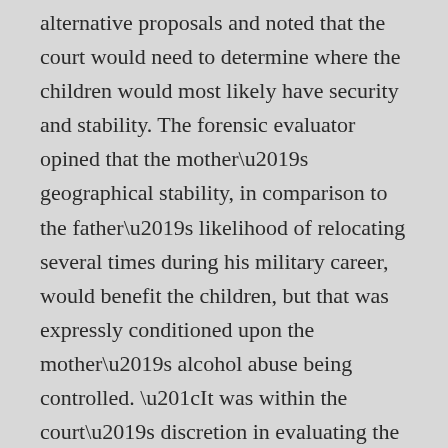alternative proposals and noted that the court would need to determine where the children would most likely have security and stability. The forensic evaluator opined that the mother’s geographical stability, in comparison to the father’s likelihood of relocating several times during his military career, would benefit the children, but that was expressly conditioned upon the mother’s alcohol abuse being controlled. “It was within the court’s discretion in evaluating the children’s best interest, to weigh the mother’s lengthy struggle with alcohol abuse,